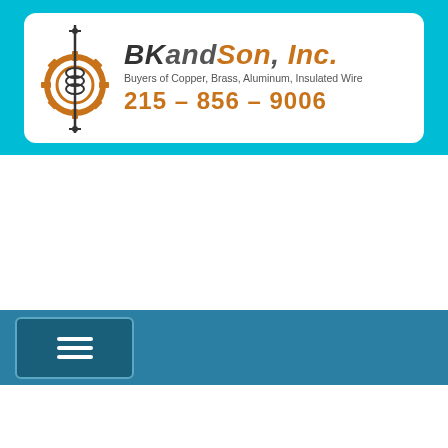[Figure (logo): BKandSon, Inc. company logo with gear and wire icon, company name, tagline 'Buyers of Copper, Brass, Aluminum, Insulated Wire', phone number 215-856-9006]
[Figure (screenshot): Navigation bar with hamburger menu button on dark blue background]
[Figure (photo): BKandSon Inc. branded white box truck parked in lot with trees and blue sky background, with left and right carousel arrows]
[Figure (infographic): Footer contact bar with Phone (green phone icon), Email (pink envelope icon), Facebook (blue Facebook icon)]